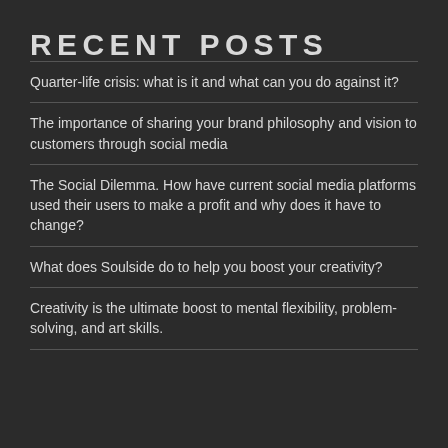RECENT POSTS
Quarter-life crisis: what is it and what can you do against it?
The importance of sharing your brand philosophy and vision to customers through social media
The Social Dilemma. How have current social media platforms used their users to make a profit and why does it have to change?
What does Soulside do to help you boost your creativity?
Creativity is the ultimate boost to mental flexibility, problem-solving, and art skills.